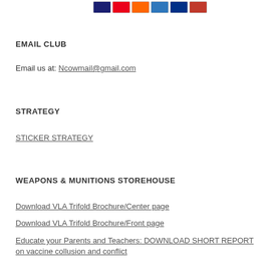[Figure (other): Row of payment method icons: Visa, Mastercard, Maestro, American Express, Discover, and one more card icon]
EMAIL CLUB
Email us at: Ncowmail@gmail.com
STRATEGY
STICKER STRATEGY
WEAPONS & MUNITIONS STOREHOUSE
Download VLA Trifold Brochure/Center page
Download VLA Trifold Brochure/Front page
Educate your Parents and Teachers: DOWNLOAD SHORT REPORT on vaccine collusion and conflict